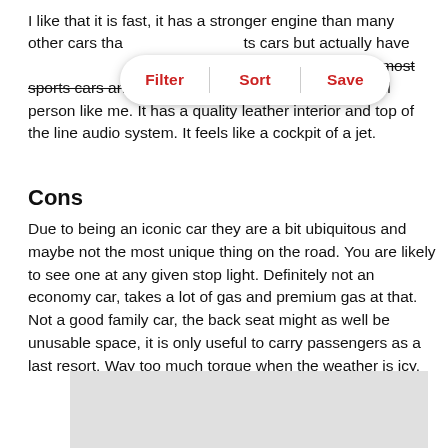I like that it is fast, it has a stronger engine than many other cars that [overlaid] cars but actually have [overlaid] sporty look, it is larger than most sports cars and has an interior large enough for a tall person like me. It has a quality leather interior and top of the line audio system. It feels like a cockpit of a jet.
Cons
Due to being an iconic car they are a bit ubiquitous and maybe not the most unique thing on the road. You are likely to see one at any given stop light. Definitely not an economy car, takes a lot of gas and premium gas at that. Not a good family car, the back seat might as well be unusable space, it is only useful to carry passengers as a last resort. Way too much torque when the weather is icy.
[Figure (other): Gray placeholder box at the bottom of the page]